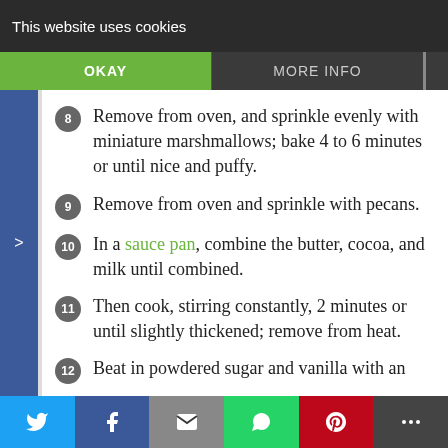This website uses cookies | OKAY | MORE INFO
8. Remove from oven, and sprinkle evenly with miniature marshmallows; bake 4 to 6 minutes or until nice and puffy.
9. Remove from oven and sprinkle with pecans.
10. In a sauce pan, combine the butter, cocoa, and milk until combined.
11. Then cook, stirring constantly, 2 minutes or until slightly thickened; remove from heat.
12. Beat in powdered sugar and vanilla with an electric mixer until smooth.
Social share bar: Twitter, Facebook, Email, WhatsApp, Pinterest, More